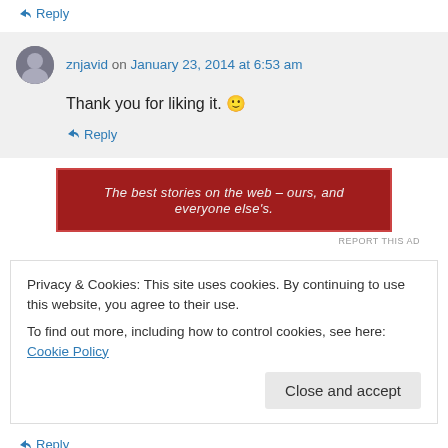↪ Reply
znjavid on January 23, 2014 at 6:53 am
Thank you for liking it. 🙂
↪ Reply
[Figure (other): Red advertisement banner: The best stories on the web — ours, and everyone else's.]
REPORT THIS AD
Privacy & Cookies: This site uses cookies. By continuing to use this website, you agree to their use. To find out more, including how to control cookies, see here: Cookie Policy
Close and accept
↪ Reply